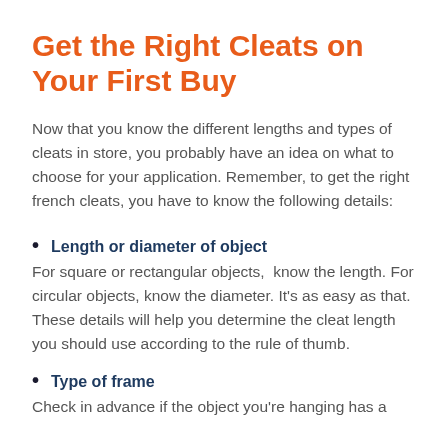Get the Right Cleats on Your First Buy
Now that you know the different lengths and types of cleats in store, you probably have an idea on what to choose for your application. Remember, to get the right french cleats, you have to know the following details:
Length or diameter of object
For square or rectangular objects,  know the length. For circular objects, know the diameter. It's as easy as that. These details will help you determine the cleat length you should use according to the rule of thumb.
Type of frame
Check in advance if the object you're hanging has a